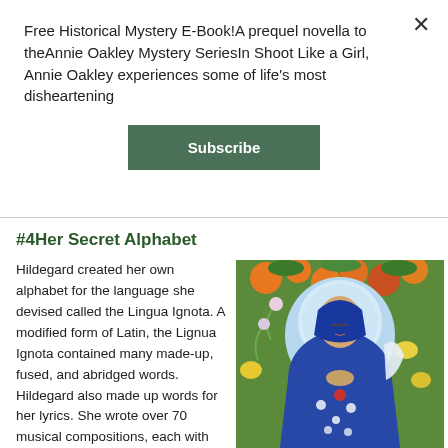Free Historical Mystery E-Book!A prequel novella to theAnnie Oakley Mystery SeriesIn Shoot Like a Girl, Annie Oakley experiences some of life's most disheartening
Subscribe
#4Her Secret Alphabet
Hildegard created her own alphabet for the language she devised called the Lingua Ignota. A modified form of Latin, the Lignua Ignota contained many made-up, fused, and abridged words. Hildegard also made up words for her lyrics. She wrote over 70 musical compositions, each with its own poetic text. Scholars believe she created
[Figure (illustration): Colorful illustration of a religious figure (Madonna/Virgin Mary) in a blue robe with floral and fruit decorations surrounding her, in the style of folk art from the Catholic Catalogue.]
From the Catholic Catalogue